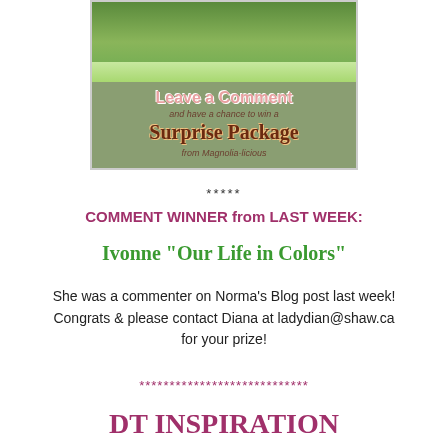[Figure (illustration): Promotional banner image with fairy/garden artwork at top and green background. Text reads: 'Leave a Comment and have a chance to win a Surprise Package from Magnolia-licious']
*****
COMMENT WINNER from LAST WEEK:
Ivonne "Our Life in Colors"
She was a commenter on Norma's Blog post last week! Congrats & please contact Diana at ladydian@shaw.ca for your prize!
****************************
DT INSPIRATION